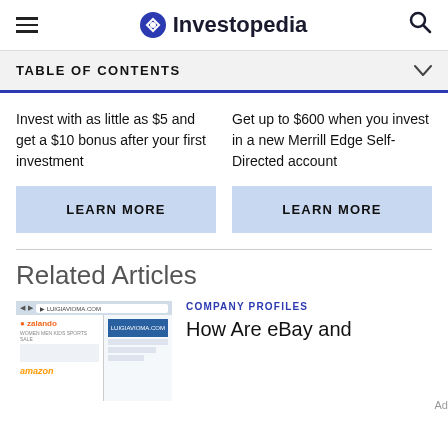Investopedia
TABLE OF CONTENTS
Invest with as little as $5 and get a $10 bonus after your first investment
Get up to $600 when you invest in a new Merrill Edge Self-Directed account
LEARN MORE
LEARN MORE
Related Articles
[Figure (photo): Screenshot of e-commerce websites including Zalando, LUIGIAVIOMA.COM, and Amazon]
COMPANY PROFILES
How Are eBay and